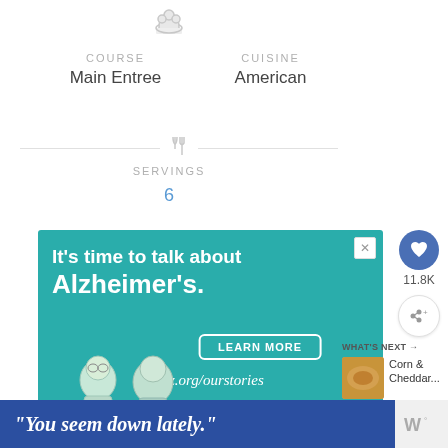COURSE
Main Entree
CUISINE
American
SERVINGS
6
[Figure (infographic): Advertisement for Alzheimer's awareness: teal background, headline 'It's time to talk about Alzheimer's.', LEARN MORE button, alz.org/ourstories URL, illustrated elderly couple figures]
11.8K
WHAT'S NEXT →
Corn & Cheddar...
[Figure (infographic): Bottom banner ad with dark blue background and italic white text: "You seem down lately."]